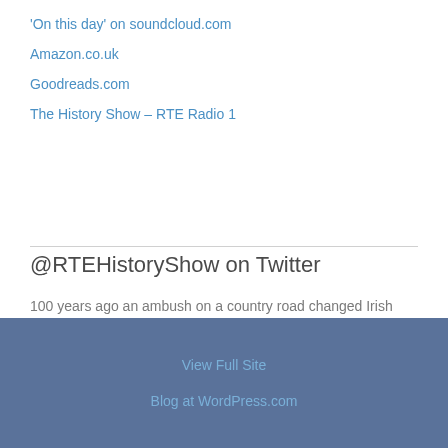'On this day' on soundcloud.com
Amazon.co.uk
Goodreads.com
The History Show – RTE Radio 1
@RTEHistoryShow on Twitter
100 years ago an ambush on a country road changed Irish history. Follow Michael Collins's last journey in a new int…
twitter.com/i/web/status/1… 1 week ago
View Full Site
Blog at WordPress.com